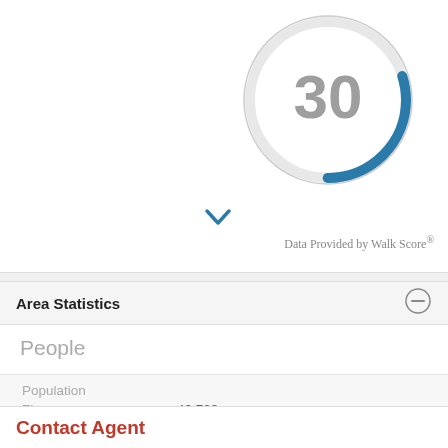[Figure (other): Donut/gauge chart showing Walk Score of 30, with a teal arc on the upper-right portion of the circle and the number 30 in gray in the center]
Data Provided by Walk Score®
Area Statistics
People
Population
Zip: 42,703
Contact Agent